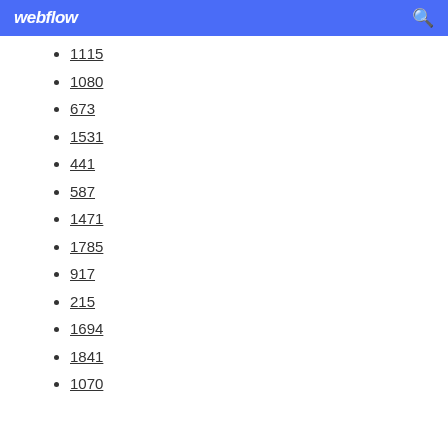webflow
1115
1080
673
1531
441
587
1471
1785
917
215
1694
1841
1070